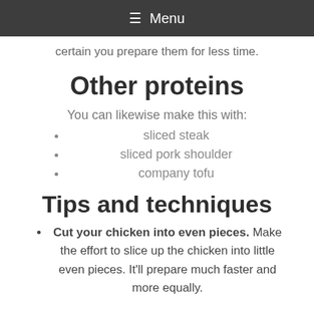≡ Menu
certain you prepare them for less time.
Other proteins
You can likewise make this with:
sliced steak
sliced pork shoulder
company tofu
Tips and techniques
Cut your chicken into even pieces. Make the effort to slice up the chicken into little even pieces. It'll prepare much faster and more equally.